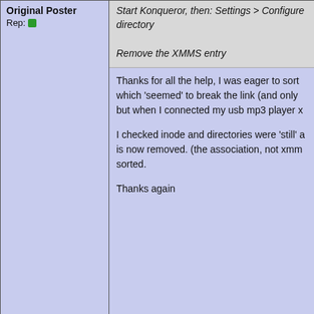Original Poster
Rep:
Start Konqueror, then: Settings > Configure directory

Remove the XMMS entry
Thanks for all the help, I was eager to sort which 'seemed' to break the link (and only but when I connected my usb mp3 player x

I checked inode and directories were 'still' a is now removed. (the association, not xmm sorted.

Thanks again